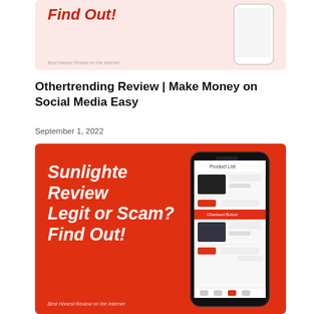[Figure (illustration): Top partial banner with pink background showing 'Legit or Scam? Find Out!' text in red with a phone mockup on the right side]
Othertrending Review | Make Money on Social Media Easy
September 1, 2022
[Figure (illustration): Red banner image with bold white italic text reading 'Sunlighte Review Legit or Scam? Find Out!' and a phone mockup on the right. Subtitle: Best Honest Review on the Internet]